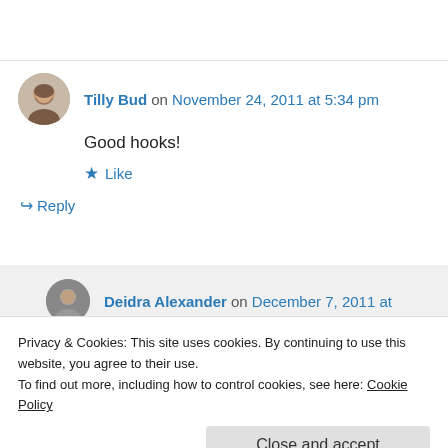Tilly Bud on November 24, 2011 at 5:34 pm
Good hooks!
★ Like
↪ Reply
Deidra Alexander on December 7, 2011 at
Privacy & Cookies: This site uses cookies. By continuing to use this website, you agree to their use.
To find out more, including how to control cookies, see here: Cookie Policy
Close and accept
↪ Reply